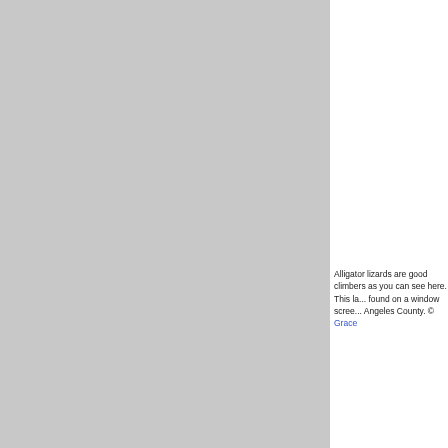[Figure (photo): Large gray placeholder image of an alligator lizard, occupying the left portion of the page.]
Alligator lizards are good climbers as you can see here. This lady was found on a window screen in Los Angeles County. © Grace